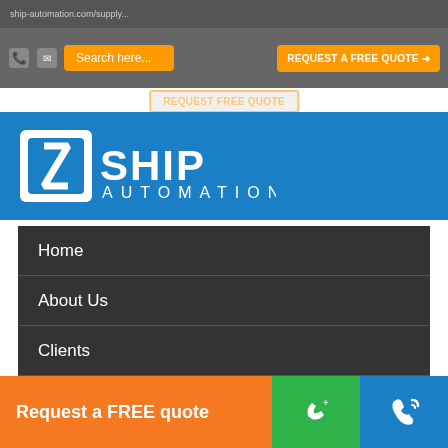ship-automation.com/supply...
[Figure (screenshot): Navigation bar with phone/mail icons, orange search box, and orange REQUEST A FREE QUOTE button]
[Figure (logo): SHIP AUTOMATION logo - blue square bracket icon with SHIP text and AUTOMATION below, white on blue background]
Home
About Us
Clients
Services
Products
Contact Us
Blog
Controller
Request a FREE quote